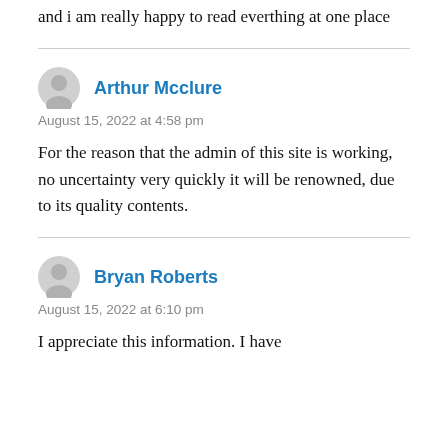and i am really happy to read everthing at one place
Arthur Mcclure
August 15, 2022 at 4:58 pm
For the reason that the admin of this site is working, no uncertainty very quickly it will be renowned, due to its quality contents.
Bryan Roberts
August 15, 2022 at 6:10 pm
I appreciate this information. I have